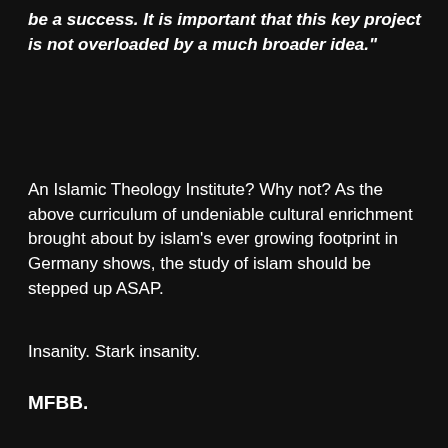be a success. It is important that this key project is not overloaded by a much broader idea."
An Islamic Theology Institute? Why not? As the above curriculum of undeniable cultural enrichment brought about by islam's ever growing footprint in Germany shows, the study of islam should be stepped up ASAP.
Insanity. Stark insanity.
MFBB.